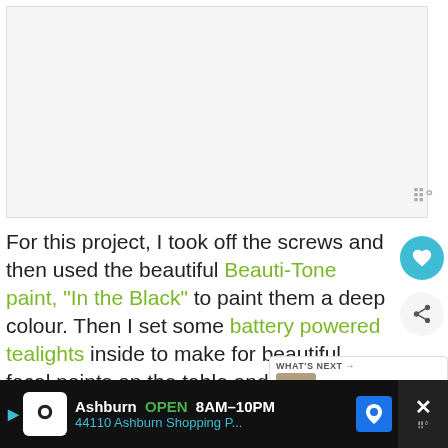[Figure (photo): Large image area showing project photo (lanterns/candle holders), mostly white/light gray placeholder area]
For this project, I took off the screws and then used the beautiful Beauti-Tone paint, "In the Black" to paint them a deep colour. Then I set some battery powered tealights inside to make for beautiful focal points on the table and add a nice glow in the evening!
[Figure (screenshot): What's Next overlay card showing thumbnail and title '50 Easy Scrap Wood...']
[Figure (screenshot): Advertisement bar: Ashburn OPEN 8AM-10PM, 44110 Ashburn Shopping P...]